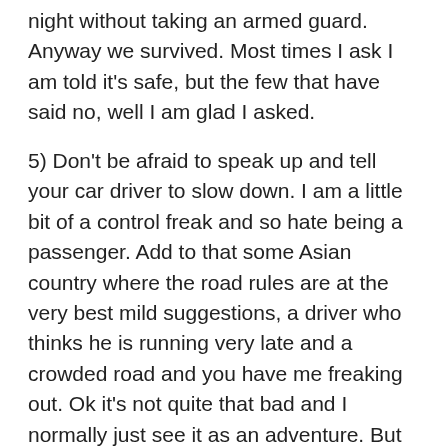night without taking an armed guard. Anyway we survived. Most times I ask I am told it's safe, but the few that have said no, well I am glad I asked.
5) Don't be afraid to speak up and tell your car driver to slow down. I am a little bit of a control freak and so hate being a passenger. Add to that some Asian country where the road rules are at the very best mild suggestions, a driver who thinks he is running very late and a crowded road and you have me freaking out. Ok it's not quite that bad and I normally just see it as an adventure. But there have been a few times where I think I am in significant danger the way the guy is driving, so rather than be killed in some horrific Kathmandu pile up, I will speak up and ask the driver to slow down a little.
6) There have been a couple of times when we were traveling as a family that we couldn't all fit into one cab